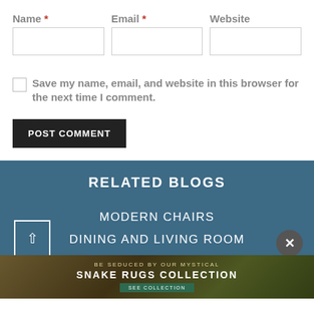Name * Email * Website
Save my name, email, and website in this browser for the next time I comment.
POST COMMENT
RELATED BLOGS
MODERN CHAIRS
DINING AND LIVING ROOM
BE SEDUCED BY OUR MYSTICAL SNAKE RUGS COLLECTION SEE COLLECTION